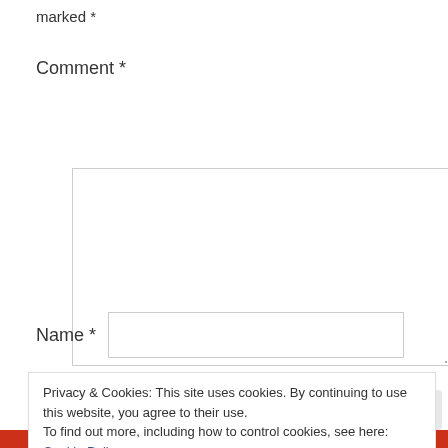marked *
Comment *
[Figure (other): Comment text area input box with resize handle]
Name *
[Figure (other): Name text input field]
Privacy & Cookies: This site uses cookies. By continuing to use this website, you agree to their use.
To find out more, including how to control cookies, see here: Cookie Policy
Close and accept